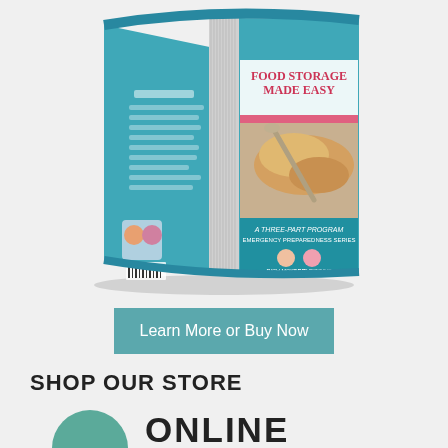[Figure (illustration): 3D open book titled 'Food Storage Made Easy — A Three-Part Program' by Rich Mokarr and Julie Figgins, with a teal/blue cover and images of grain/food on front cover]
Learn More or Buy Now
SHOP OUR STORE
All the best preparedness products at all the best pr… Always with FREE SHIPPING!
[Figure (logo): Green circle icon with 'ONLINE' text in bold dark letters]